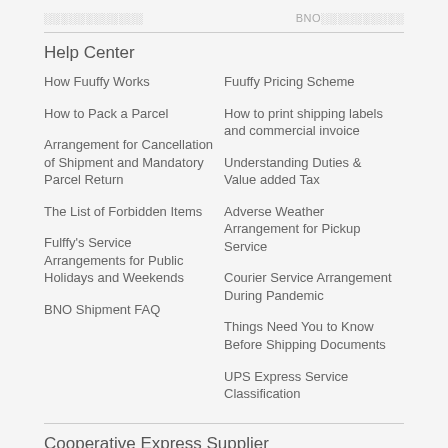░░░░░░░░░░░░
BNO░░░░░░░░░░
Help Center
How Fuuffy Works
Fuuffy Pricing Scheme
How to Pack a Parcel
How to print shipping labels and commercial invoice
Arrangement for Cancellation of Shipment and Mandatory Parcel Return
Understanding Duties & Value added Tax
The List of Forbidden Items
Adverse Weather Arrangement for Pickup Service
Fulffy's Service Arrangements for Public Holidays and Weekends
Courier Service Arrangement During Pandemic
BNO Shipment FAQ
Things Need You to Know Before Shipping Documents
UPS Express Service Classification
Cooperative Express Supplier
DHL consignment
Aramex consignment
Fedex consignment
UPS shipping